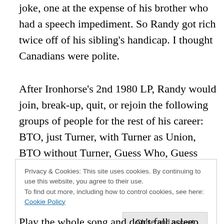joke, one at the expense of his brother who had a speech impediment. So Randy got rich twice off of his sibling's handicap. I thought Canadians were polite.
After Ironhorse's 2nd 1980 LP, Randy would join, break-up, quit, or rejoin the following groups of people for the rest of his career: BTO, just Turner, with Turner as Union, BTO without Turner, Guess Who, Guess Who without Burton Cummings, just Burton Cummings, and with his son Tal Bachman, who had a Top 15 hit in 1999 called She's So High.
Privacy & Cookies: This site uses cookies. By continuing to use this website, you agree to their use. To find out more, including how to control cookies, see here: Cookie Policy
Play the whole song and don't fall asleep. Can you do it?